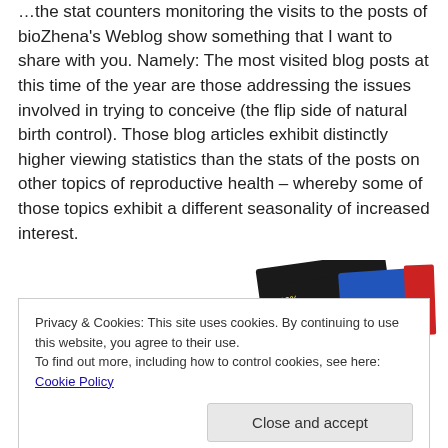…the stat counters monitoring the visits to the posts of bioZhena's Weblog show something that I want to share with you. Namely: The most visited blog posts at this time of the year are those addressing the issues involved in trying to conceive (the flip side of natural birth control). Those blog articles exhibit distinctly higher viewing statistics than the stats of the posts on other topics of reproductive health – whereby some of those topics exhibit a different seasonality of increased interest.
[Figure (photo): Partially visible book or album cover showing '99% INVISIBLE' text in yellow on a dark background with blue and red colored elements]
Privacy & Cookies: This site uses cookies. By continuing to use this website, you agree to their use.
To find out more, including how to control cookies, see here: Cookie Policy